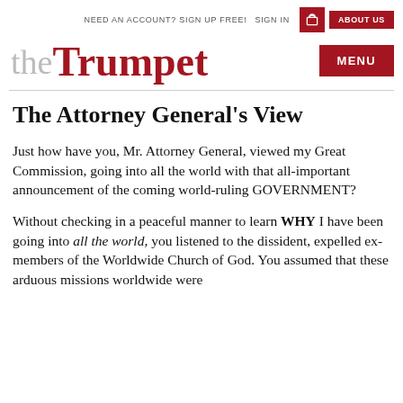NEED AN ACCOUNT? SIGN UP FREE!   SIGN IN   [cart]   ABOUT US
the Trumpet   MENU
The Attorney General's View
Just how have you, Mr. Attorney General, viewed my Great Commission, going into all the world with that all-important announcement of the coming world-ruling GOVERNMENT?
Without checking in a peaceful manner to learn WHY I have been going into all the world, you listened to the dissident, expelled ex-members of the Worldwide Church of God. You assumed that these arduous missions worldwide were